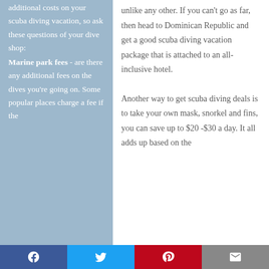additional costs on your scuba diving vacation, so ask these questions of your dive shop: Marine park fees - are there any additional fees on the dives you're going on. Some popular places charge a fee if the
unlike any other. If you can't go as far, then head to Dominican Republic and get a good scuba diving vacation package that is attached to an all-inclusive hotel.
Another way to get scuba diving deals is to take your own mask, snorkel and fins, you can save up to $20 -$30 a day. It all adds up based on the
Facebook | Twitter | Pinterest | Email